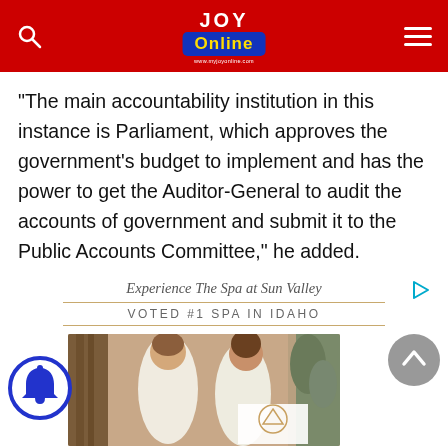JOY Online
“The main accountability institution in this instance is Parliament, which approves the government’s budget to implement and has the power to get the Auditor-General to audit the accounts of government and submit it to the Public Accounts Committee,” he added.
[Figure (infographic): Advertisement banner for 'Experience The Spa at Sun Valley' - Voted #1 Spa in Idaho, with photo of two women in white robes at a spa]
[Figure (photo): Two women in white spa robes smiling at a spa, with wooden decor and plants in background, Sun Valley spa logo visible]